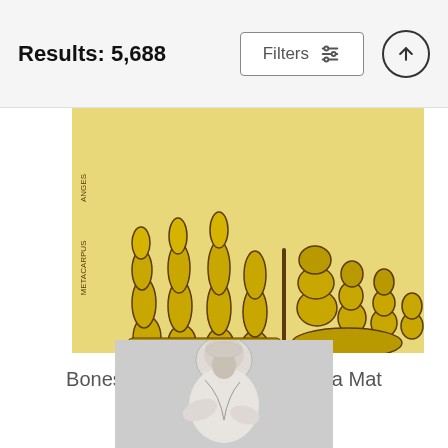Results: 5,688  Filters
[Figure (photo): Illustration of bones of hands and foot, yellow/golden color on beige background, with anatomical labels including ANGES and METACARPUS on the left side]
Bones of Hands and Foot Yoga Mat
CSA Images
$85
[Figure (photo): Black and white vintage photograph of a person, partially cropped at bottom of page]